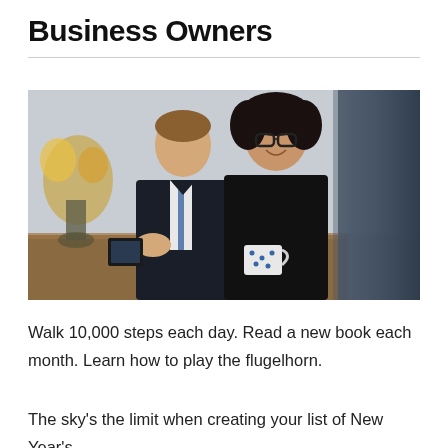Business Owners
[Figure (photo): Three business professionals sitting at a meeting table. A man in a dark suit with a tie is on the left, a smiling woman with curly hair and glasses holding a polka-dot mug is in the center, and a blurred figure in a dark suit is on the right foreground. A vase of flowers is visible on the left background.]
Walk 10,000 steps each day. Read a new book each month. Learn how to play the flugelhorn.
The sky's the limit when creating your list of New Year's